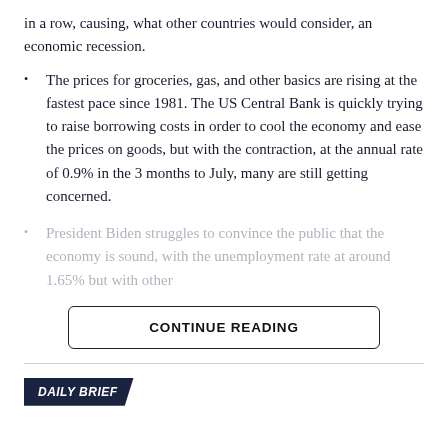in a row, causing, what other countries would consider, an economic recession.
The prices for groceries, gas, and other basics are rising at the fastest pace since 1981. The US Central Bank is quickly trying to raise borrowing costs in order to cool the economy and ease the prices on goods, but with the contraction, at the annual rate of 0.9% in the 3 months to July, many are still getting concerned.
President Biden struggles to convince the public that the economy is sound, with the unemployment rate at around 1.65% but with other
CONTINUE READING
DAILY BRIEF